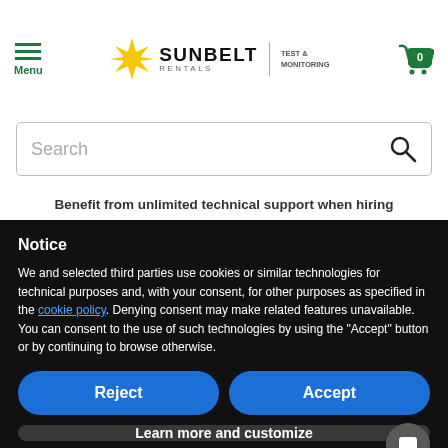[Figure (logo): Sunbelt Rentals Test & Monitoring logo with sun icon]
Search
Benefit from unlimited technical support when hiring
Notice
We and selected third parties use cookies or similar technologies for technical purposes and, with your consent, for other purposes as specified in the cookie policy. Denying consent may make related features unavailable.
You can consent to the use of such technologies by using the “Accept” button or by continuing to browse otherwise.
Reject
Accept
Learn more and customize